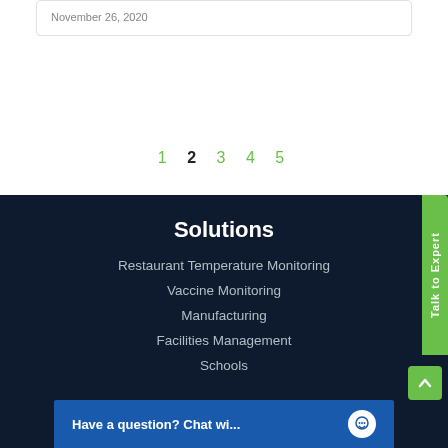November 26, 2020
1  2  3  4  5
Solutions
Restaurant Temperature Monitoring
Vaccine Monitoring
Manufacturing
Facilities Management
Schools
Have a question? Chat wi...